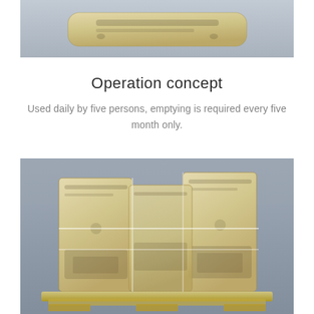[Figure (photo): Top partial view of a beige/cream colored portable toilet or sanitation unit, photographed against a grey background]
Operation concept
Used daily by five persons, emptying is required every five month only.
[Figure (photo): Two or more beige/cream colored portable toilet units stacked or grouped on a wooden pallet, photographed against a grey concrete wall background]